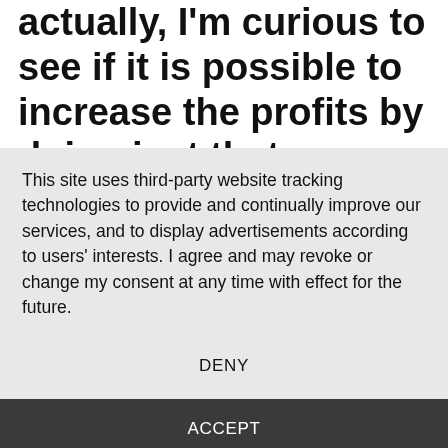actually, I'm curious to see if it is possible to increase the profits by doing just that. Therefore, I have coded a function
This site uses third-party website tracking technologies to provide and continually improve our services, and to display advertisements according to users' interests. I agree and may revoke or change my consent at any time with effect for the future.
DENY
ACCEPT
MORE
Powered by usercentrics & eRecht24